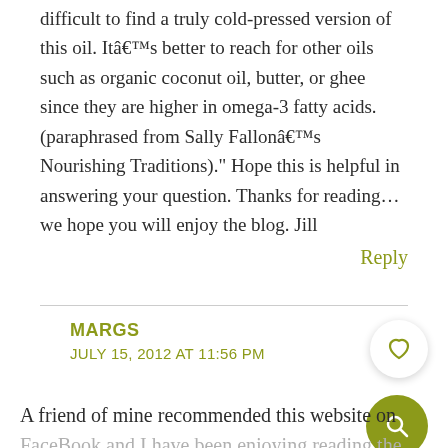difficult to find a truly cold-pressed version of this oil. Itâ€™s better to reach for other oils such as organic coconut oil, butter, or ghee since they are higher in omega-3 fatty acids. (paraphrased from Sally Fallonâ€™s Nourishing Traditions)." Hope this is helpful in answering your question. Thanks for reading…we hope you will enjoy the blog. Jill
Reply
MARGS
JULY 15, 2012 AT 11:56 PM
A friend of mine recommended this website on FaceBook and I have been enjoying reading the comments and suggestions. For some years now I